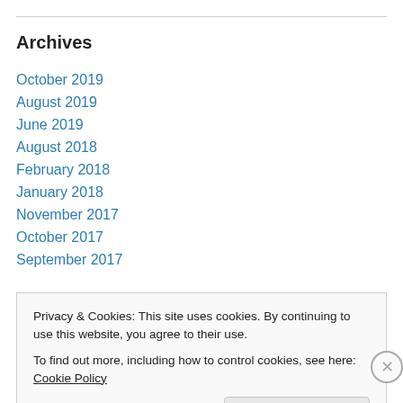Archives
October 2019
August 2019
June 2019
August 2018
February 2018
January 2018
November 2017
October 2017
September 2017
Privacy & Cookies: This site uses cookies. By continuing to use this website, you agree to their use. To find out more, including how to control cookies, see here: Cookie Policy
Close and accept